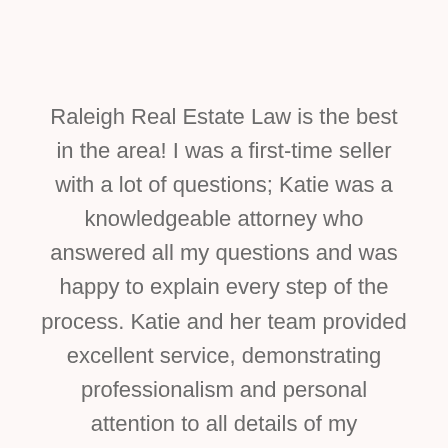Raleigh Real Estate Law is the best in the area! I was a first-time seller with a lot of questions; Katie was a knowledgeable attorney who answered all my questions and was happy to explain every step of the process. Katie and her team provided excellent service, demonstrating professionalism and personal attention to all details of my upcoming agreement toward the sale of the house. The negotiation and sale process had some unexpected complications, and the Raleigh Real